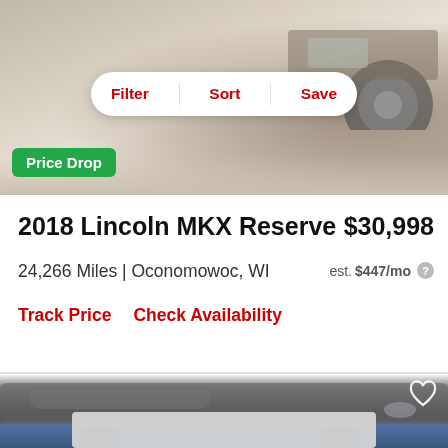[Figure (photo): Top portion of a car listing page showing the rear/side of a vehicle (Lincoln MKX) in a dealership, with a white pill-shaped Filter/Sort/Save bar and a green Price Drop badge overlay]
Filter   Sort   Save
Price Drop
2018 Lincoln MKX Reserve
$30,998
24,266 Miles | Oconomowoc, WI
est. $447/mo
Track Price    Check Availability
[Figure (photo): Photo of a gray 2018 Lincoln MKX Reserve SUV parked in a dealership showroom with blue/gray background, heart/favorite icon in top-right corner, and a blurred rectangular overlay at the bottom]